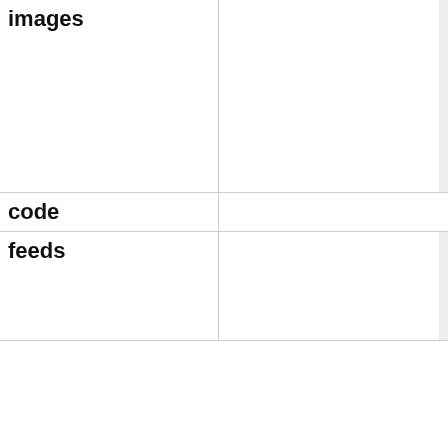images
Array
(
    [0] => Array
        (
            [url] => https:/
            [width] => 1024
            [height] => 579
            [size] => 592896
            [mime] => image/
        )

)
code
feeds
Array
(
    [0] => https://merispace
    [1] => https://merispace
    [2] => https://merispace
)